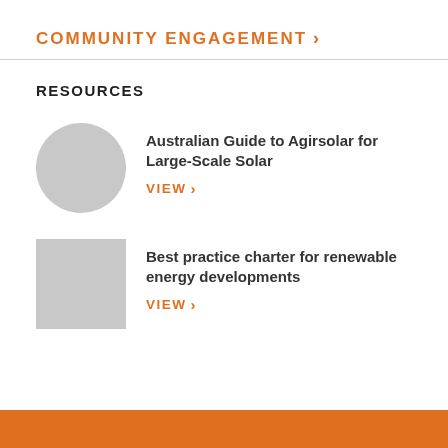COMMUNITY ENGAGEMENT >
RESOURCES
[Figure (illustration): Gray circle thumbnail placeholder for Australian Guide to Agrisolar for Large-Scale Solar resource]
Australian Guide to Agirsolar for Large-Scale Solar
VIEW >
[Figure (illustration): Gray square thumbnail placeholder for Best practice charter for renewable energy developments resource]
Best practice charter for renewable energy developments
VIEW >